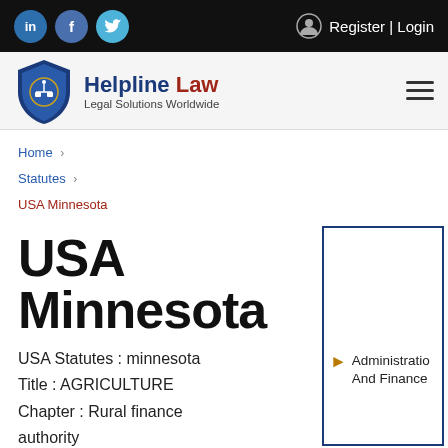in | f | Twitter | Register | Login
[Figure (logo): Helpline Law shield logo with scales of justice]
Helpline Law – Legal Solutions Worldwide
Home > Statutes > USA Minnesota
USA Minnesota
USA Statutes : minnesota
Title : AGRICULTURE
Chapter : Rural finance authority
Administration And Finance